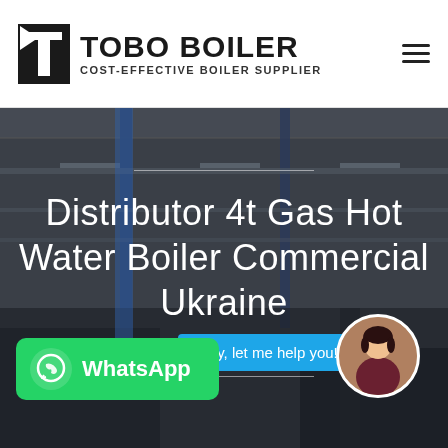[Figure (logo): TOBO BOILER logo with stylized T-shaped icon and text 'TOBO BOILER' and subtitle 'COST-EFFECTIVE BOILER SUPPLIER']
[Figure (photo): Industrial factory/warehouse interior with heavy equipment and steel structures, used as hero background image]
Distributor 4t Gas Hot Water Boiler Commercial Ukraine
[Figure (infographic): Chat bubble saying 'Hey, let me help you!' with a female customer service avatar photo beside it]
[Figure (logo): WhatsApp button with WhatsApp icon and text 'WhatsApp' on green background]